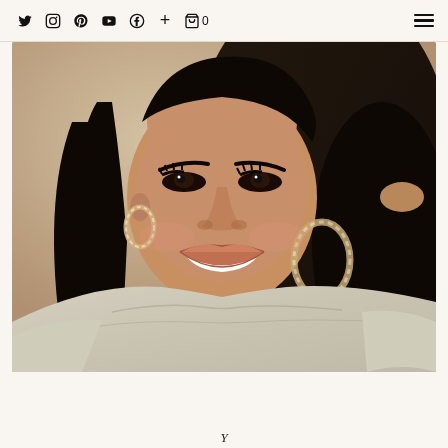Twitter Instagram Pinterest YouTube Facebook + Cart(0) [hamburger menu]
[Figure (photo): Portrait photo of a smiling woman with long dark wavy hair, wearing rhinestone hoop earrings and a light beige/silver draped top, posing with one hand in her hair against a warm neutral background.]
Y